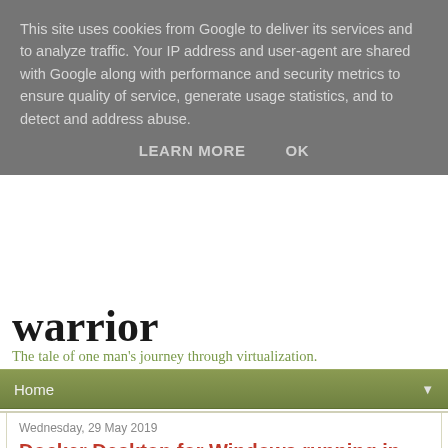This site uses cookies from Google to deliver its services and to analyze traffic. Your IP address and user-agent are shared with Google along with performance and security metrics to ensure quality of service, generate usage statistics, and to detect and address abuse.
LEARN MORE   OK
Warrior
The tale of one man's journey through virtualization.
Home
Wednesday, 29 May 2019
Docker Desktop for Windows running in VMware Cloud on AWS
I had an interesting request from a customer who is potentially looking to move some developers desktops from on-premises into VMC accessible via Horizon 7 but had a requirement to run docker on the Windows 10 desktops and